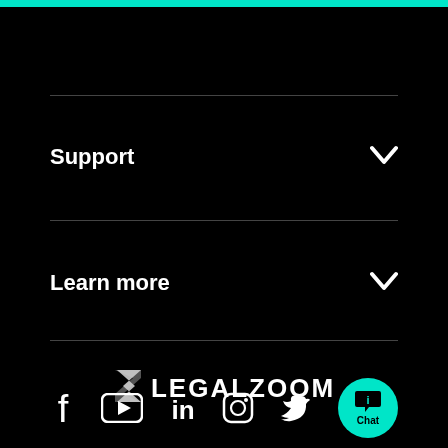Support
Learn more
[Figure (logo): LegalZoom logo with stylized Z icon and LEGALZOOM wordmark in white on black background]
[Figure (infographic): Social media icons row: Facebook, YouTube, LinkedIn, Instagram, Twitter, and a teal Chat button]